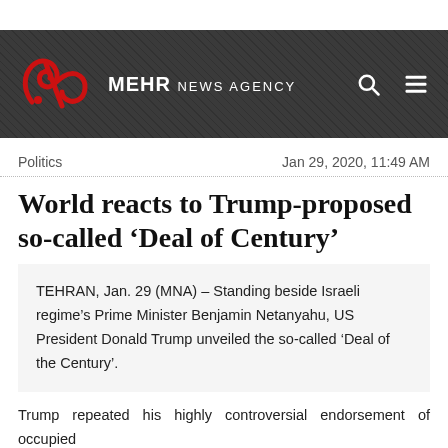MEHR NEWS AGENCY
Politics	Jan 29, 2020, 11:49 AM
World reacts to Trump-proposed so-called ‘Deal of Century’
TEHRAN, Jan. 29 (MNA) – Standing beside Israeli regime’s Prime Minister Benjamin Netanyahu, US President Donald Trump unveiled the so-called ‘Deal of the Century’.
Trump repeated his highly controversial endorsement of occupied